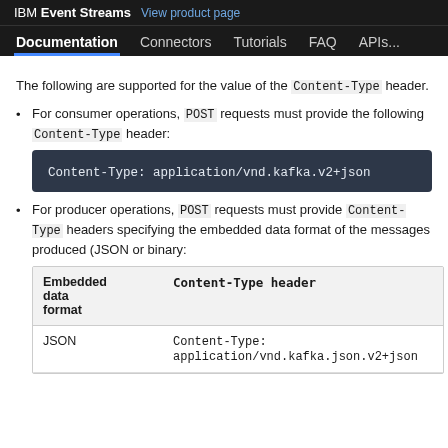IBM Event Streams  View product page
Documentation  Connectors  Tutorials  FAQ  APIs...
The following are supported for the value of the Content-Type header.
For consumer operations, POST requests must provide the following Content-Type header:
Content-Type: application/vnd.kafka.v2+json
For producer operations, POST requests must provide Content-Type headers specifying the embedded data format of the messages produced (JSON or binary:
| Embedded data format | Content-Type header |
| --- | --- |
| JSON | Content-Type: application/vnd.kafka.json.v2+json |